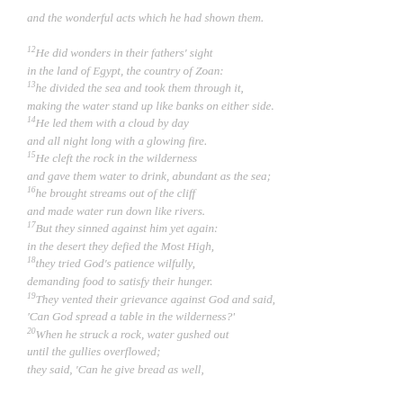and the wonderful acts which he had shown them.

12He did wonders in their fathers' sight
in the land of Egypt, the country of Zoan:
13he divided the sea and took them through it,
making the water stand up like banks on either side.
14He led them with a cloud by day
and all night long with a glowing fire.
15He cleft the rock in the wilderness
and gave them water to drink, abundant as the sea;
16he brought streams out of the cliff
and made water run down like rivers.
17But they sinned against him yet again:
in the desert they defied the Most High,
18they tried God's patience wilfully,
demanding food to satisfy their hunger.
19They vented their grievance against God and said,
'Can God spread a table in the wilderness?'
20When he struck a rock, water gushed out
until the gullies overflowed;
they said, 'Can he give bread as well,